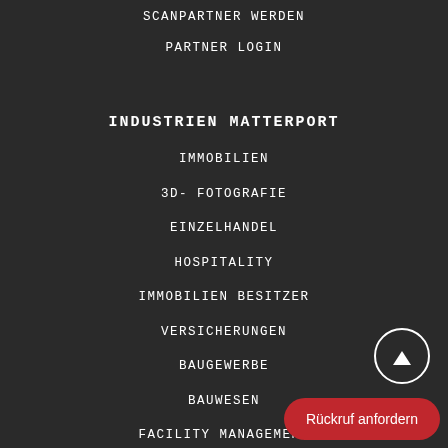SCANPARTNER WERDEN
PARTNER LOGIN
INDUSTRIEN MATTERPORT
IMMOBILIEN
3D- FOTOGRAFIE
EINZELHANDEL
HOSPITALITY
IMMOBILIEN BESITZER
VERSICHERUNGEN
BAUGEWERBE
BAUWESEN
FACILITY MANAGEMENT
Rückruf anfordern